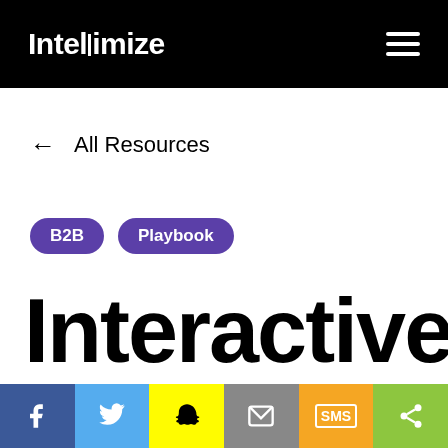Intellimize
← All Resources
B2B  Playbook
Interactive